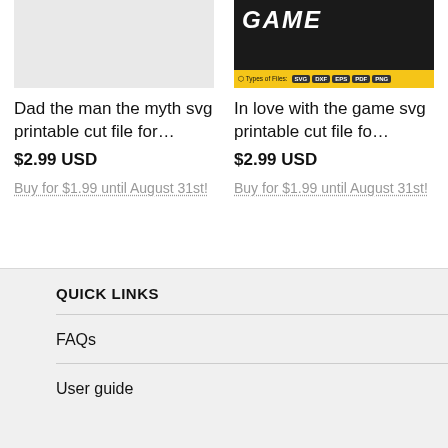[Figure (photo): Product image - light gray placeholder for Dad the man the myth svg product]
[Figure (photo): Product image - dark/black background showing GAME text with yellow footer bar listing file types SVG DXF EPS PDF PNG]
Dad the man the myth svg printable cut file for…
$2.99 USD
Buy for $1.99 until August 31st!
In love with the game svg printable cut file fo…
$2.99 USD
Buy for $1.99 until August 31st!
QUICK LINKS
FAQs
User guide